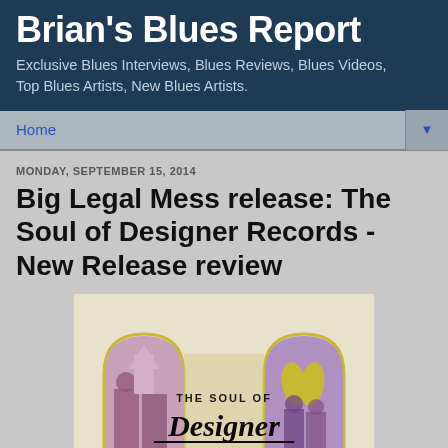Brian's Blues Report
Exclusive Blues Interviews, Blues Reviews, Blues Videos, Top Blues Artists, New Blues Artists.
Home
MONDAY, SEPTEMBER 15, 2014
Big Legal Mess release: The Soul of Designer Records - New Release review
[Figure (illustration): Album cover for 'The Soul of Designer Records' showing gothic arch window frames with vintage photos of musicians and praying hands, with stylized script text reading 'THE SOUL OF Designer RECORDS']